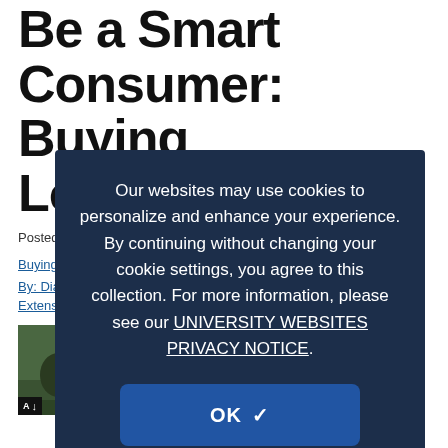Be a Smart Consumer: Buying Local Eggs
Posted on April 25, 2016
Buying Eggs From Your Local Farmer or Backyard Producer
By: Diane Wright Hirsch, MPH, Senior Extension Educator, UConn Extension
[Figure (photo): Photo of backyard chickens with AI badge overlay]
Having back yard chickens has become quite the trend. In
Our websites may use cookies to personalize and enhance your experience. By continuing without changing your cookie settings, you agree to this collection. For more information, please see our UNIVERSITY WEBSITES PRIVACY NOTICE.
OK ✓